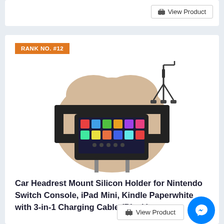View Product
RANK NO. #12
[Figure (photo): Car headrest mount silicon holder product photo showing a beige car headrest with a black silicone mount holding a Nintendo Switch console, and a 3-in-1 charging cable shown separately to the right]
Car Headrest Mount Silicon Holder for Nintendo Switch Console, iPad Mini, Kindle Paperwhite with 3-in-1 Charging Cable (Black)
View Product